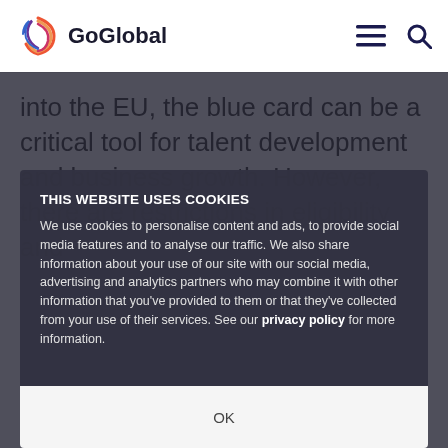GoGlobal
into the EU, the blue card can be a critical tool for talent development and business growth. However, there are restrictions in eligibility and important application requirements that should be carefully considered before pursuing the process of hiring an employee abroad to work in a participating EU member state.
Overview of the EU Blue Card
THIS WEBSITE USES COOKIES
We use cookies to personalise content and ads, to provide social media features and to analyse our traffic. We also share information about your use of our site with our social media, advertising and analytics partners who may combine it with other information that you've provided to them or that they've collected from your use of their services. See our privacy policy for more information.
OK